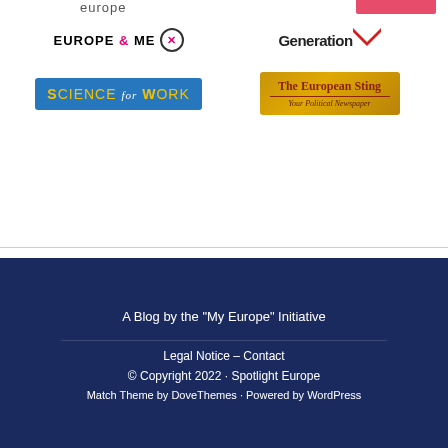[Figure (logo): Europe & Me logo with circle X icon]
[Figure (logo): Generation Y logo with downward V arrow]
[Figure (logo): Science for Work logo on blue background]
[Figure (logo): The European Sting - Your Political Newspaper logo on golden background]
A Blog by the "My Europe" Initiative
Legal Notice – Contact
© Copyright 2022 · Spotlight Europe
Match Theme by DoveThemes · Powered by WordPress